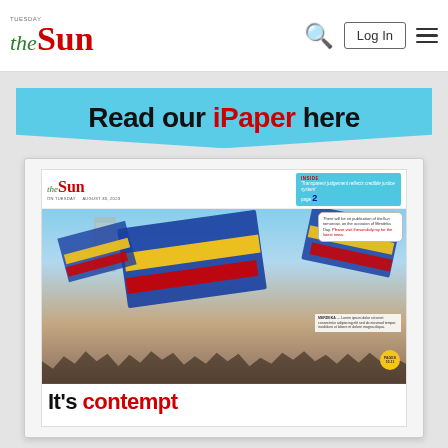the Sun - Log In - [search] [menu]
[Figure (screenshot): The Sun newspaper website screenshot showing the iPaper banner 'Read our iPaper here' and the newspaper front page featuring Malaysian flags being waved by a crowd, with headline 'It's contempt']
Read our iPaper here
[Figure (photo): The Sun newspaper front page showing crowd waving large Malaysian Jalur Gemilang flags at an event, with headline 'It's contempt']
It's contempt